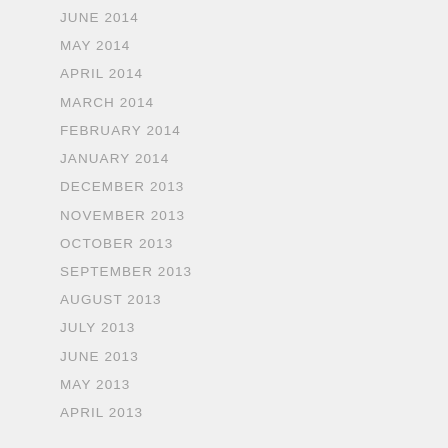JUNE 2014
MAY 2014
APRIL 2014
MARCH 2014
FEBRUARY 2014
JANUARY 2014
DECEMBER 2013
NOVEMBER 2013
OCTOBER 2013
SEPTEMBER 2013
AUGUST 2013
JULY 2013
JUNE 2013
MAY 2013
APRIL 2013